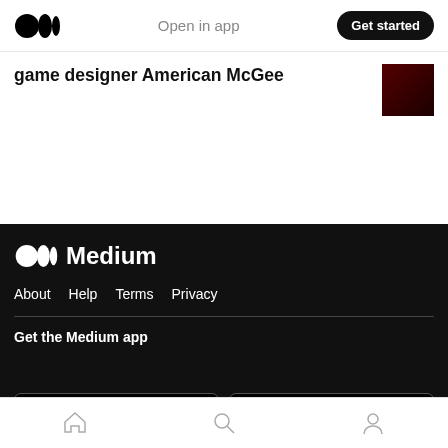Medium logo | Open in app | Get started
game designer American McGee
[Figure (logo): Medium footer logo with wordmark 'Medium' in white on black background]
About  Help  Terms  Privacy
Get the Medium app
[Figure (screenshot): App Store download button: Download on the App Store]
[Figure (screenshot): Google Play download button: GET IT ON Google Play]
Bottom navigation bar with home, search, and profile icons